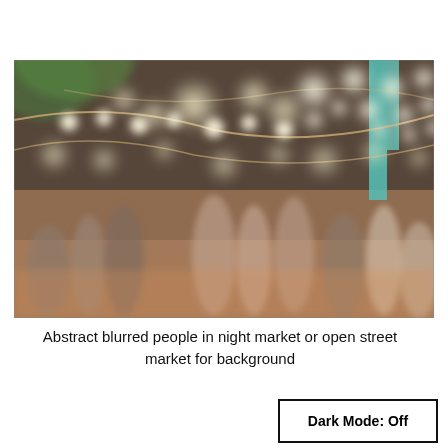[Figure (photo): Abstract blurred photo of people at a night market or open street market. String lights with round bulbs create bokeh effect across the top. Silhouettes of people milling about in a warm, softly lit outdoor market setting with vintage/retro color toning.]
Abstract blurred people in night market or open street market for background
Dark Mode: Off